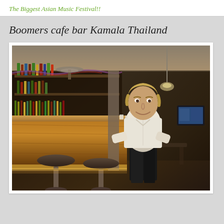The Biggest Asian Music Festival!!
Boomers cafe bar Kamala Thailand
[Figure (photo): Interior of Boomers cafe bar in Kamala, Thailand. A man in a white short-sleeve shirt leans against a wooden bar counter, smiling at the camera. The bar has bottles on display, bar stools in the foreground, a ceiling fan, hanging pendant light, and a TV screen visible in the background.]